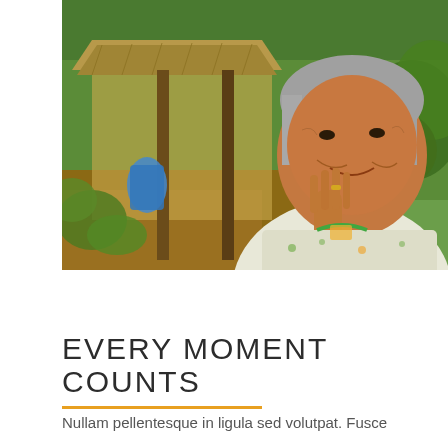[Figure (photo): An elderly woman smiling and resting her hand on her chin, standing outdoors in a lush green tropical setting with a thatched hut and wooden posts behind her. She wears a white floral blouse.]
EVERY MOMENT COUNTS
Nullam pellentesque in ligula sed volutpat. Fusce